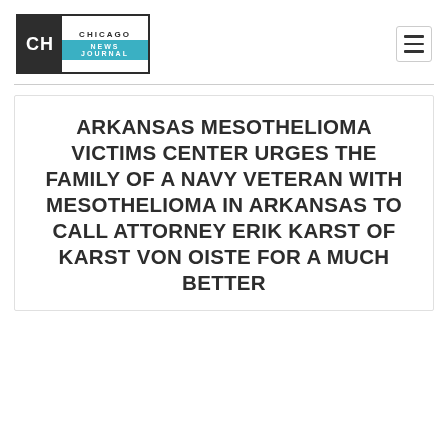[Figure (logo): Chicago News Journal logo with CH monogram on dark background and teal banner]
ARKANSAS MESOTHELIOMA VICTIMS CENTER URGES THE FAMILY OF A NAVY VETERAN WITH MESOTHELIOMA IN ARKANSAS TO CALL ATTORNEY ERIK KARST OF KARST VON OISTE FOR A MUCH BETTER